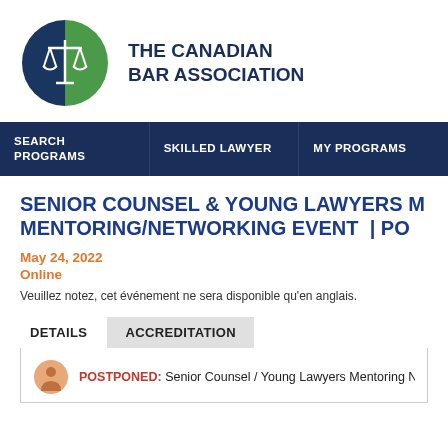[Figure (logo): The Canadian Bar Association logo — circular icon split green and dark blue with a scales of justice symbol in white]
THE CANADIAN BAR ASSOCIATION
SEARCH PROGRAMS | SKILLED LAWYER | MY PROGRAMS
SENIOR COUNSEL & YOUNG LAWYERS MENTORING/NETWORKING EVENT | PO
May 24, 2022
Online
Veuillez notez, cet événement ne sera disponible qu'en anglais.
DETAILS | ACCREDITATION
POSTPONED: Senior Counsel / Young Lawyers Mentoring N…